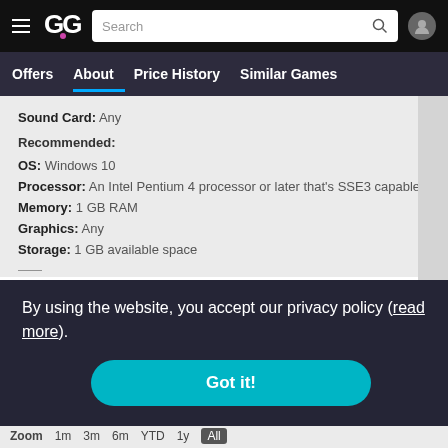GG logo, Search bar, User icon
Offers | About | Price History | Similar Games
Sound Card: Any
Recommended:
OS: Windows 10
Processor: An Intel Pentium 4 processor or later that's SSE3 capable
Memory: 1 GB RAM
Graphics: Any
Storage: 1 GB available space
By using the website, you accept our privacy policy (read more).
Got it!
Zoom  1m  3m  6m  YTD  1y  All